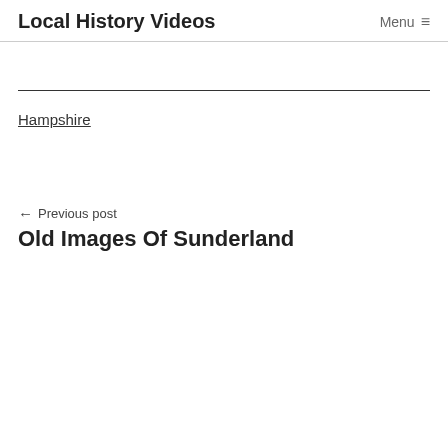Local History Videos | Menu ≡
Hampshire
← Previous post
Old Images Of Sunderland